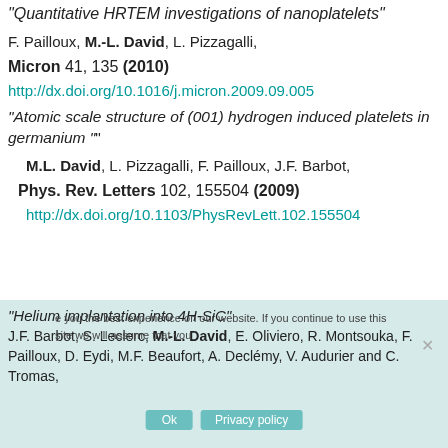"Quantitative HRTEM investigations of nanoplatelets"
F. Pailloux, M.-L. David, L. Pizzagalli,
Micron 41, 135 (2010)
http://dx.doi.org/10.1016/j.micron.2009.09.005
"Atomic scale structure of (001) hydrogen induced platelets in germanium "
M.L. David, L. Pizzagalli, F. Pailloux, J.F. Barbot,
Phys. Rev. Letters 102, 155504 (2009)
http://dx.doi.org/10.1103/PhysRevLett.102.155504
"Helium implantation into 4H-SiC"
J.F. Barbot, S. Leclerc, M.-L. David, E. Oliviero, R. Montsouka, F. Pailloux, D. Eydi, M.F. Beaufort, A. Declémy, V. Audurier and C. Tromas,